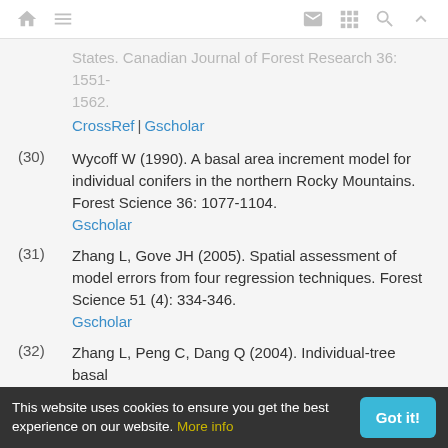[navigation icons: home, menu, mail, grid, search, up]
States. Canadian Journal of Forest Research 36: 1551-1562.
CrossRef | Gscholar
(30) Wycoff W (1990). A basal area increment model for individual conifers in the northern Rocky Mountains. Forest Science 36: 1077-1104.
Gscholar
(31) Zhang L, Gove JH (2005). Spatial assessment of model errors from four regression techniques. Forest Science 51 (4): 334-346.
Gscholar
(32) Zhang L, Peng C, Dang Q (2004). Individual-tree basal